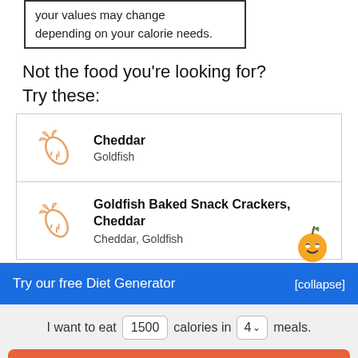your values may change depending on your calorie needs.
Not the food you're looking for?
Try these:
Cheddar
Goldfish
Goldfish Baked Snack Crackers, Cheddar
Cheddar, Goldfish
Try our free Diet Generator
[collapse]
I want to eat 1500 calories in 4 meals.
Generate